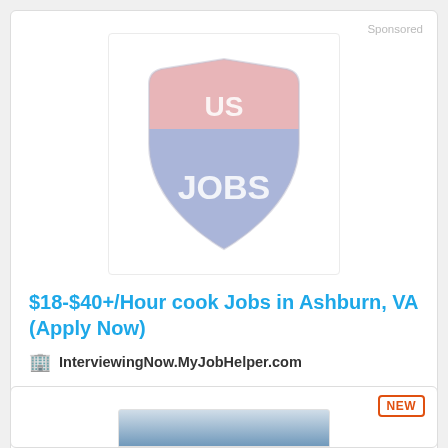Sponsored
[Figure (logo): US JOBS shield logo — red top section with 'US' text, blue bottom section with 'JOBS' text, shield shape, faded/light appearance]
$18-$40+/Hour cook Jobs in Ashburn, VA (Apply Now)
InterviewingNow.MyJobHelper.com
No Experience Required. Open Ashburn cook positions. Will train Entry Level Positions.
More Details
[Figure (screenshot): Bottom portion of a second ad card with NEW badge and partial logo/image visible]